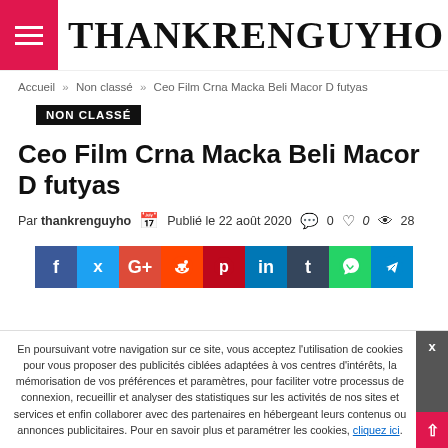THANKRENGUYHO
Accueil » Non classé » Ceo Film Crna Macka Beli Macor D futyas
NON CLASSÉ
Ceo Film Crna Macka Beli Macor D futyas
Par thankrenguyho  Publié le 22 août 2020  0  0  28
[Figure (infographic): Social media share buttons: Facebook, Twitter, Google+, Reddit, Pinterest, LinkedIn, Tumblr, WhatsApp, Telegram]
En poursuivant votre navigation sur ce site, vous acceptez l'utilisation de cookies pour vous proposer des publicités ciblées adaptées à vos centres d'intérêts, la mémorisation de vos préférences et paramètres, pour faciliter votre processus de connexion, recueillir et analyser des statistiques sur les activités de nos sites et services et enfin collaborer avec des partenaires en hébergeant leurs contenus ou annonces publicitaires. Pour en savoir plus et paramétrer les cookies, cliquez ici.